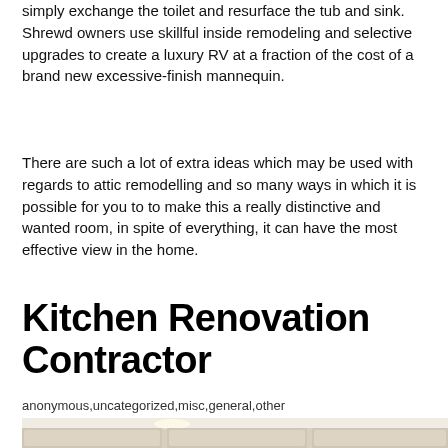simply exchange the toilet and resurface the tub and sink. Shrewd owners use skillful inside remodeling and selective upgrades to create a luxury RV at a fraction of the cost of a brand new excessive-finish mannequin.
There are such a lot of extra ideas which may be used with regards to attic remodelling and so many ways in which it is possible for you to to make this a really distinctive and wanted room, in spite of everything, it can have the most effective view in the home.
Kitchen Renovation Contractor
anonymous,uncategorized,misc,general,other
[Figure (photo): Interior photo of a kitchen with cream/beige colored cabinetry featuring raised panel doors and recessed lighting in the ceiling.]